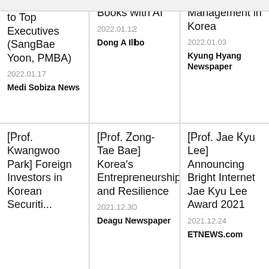to Top Executives (SangBae Yoon, PMBA)
2022.01.17
Medi Sobiza News
Books with AI
2022.01.12
Dong A Ilbo
Management in Korea
2022.01.03
Kyung Hyang Newspaper
[Prof. Kwangwoo Park] Foreign Investors in Korean Securiti...
[Prof. Zong-Tae Bae] Korea's Entrepreneurship and Resilience
2021.12.30
Deagu Newspaper
[Prof. Jae Kyu Lee] Announcing Bright Internet Jae Kyu Lee Award 2021
2021.12.24
ETNEWS.com